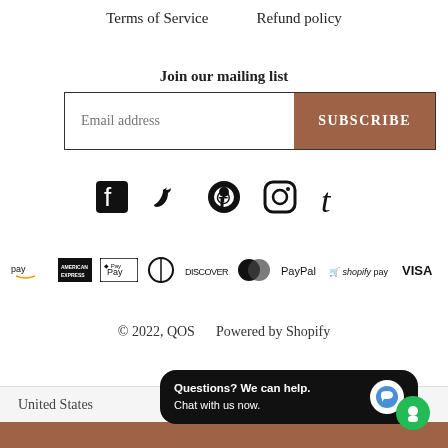Terms of Service    Refund policy
Join our mailing list
[Figure (screenshot): Email subscription form with text input placeholder 'Email address' and brown SUBSCRIBE button]
[Figure (infographic): Social media icons: Facebook, Twitter, Pinterest, Instagram, Tumblr]
[Figure (infographic): Payment method icons: Amazon Pay, American Express, Apple Pay, Diners Club, Discover, Mastercard, PayPal, Shopify Pay, Visa]
© 2022, QOS    Powered by Shopify
United States
[Figure (screenshot): Chat popup: 'Questions? We can help. Chat with us now.' with blue chat bubble icon. Green chat button bottom right.]